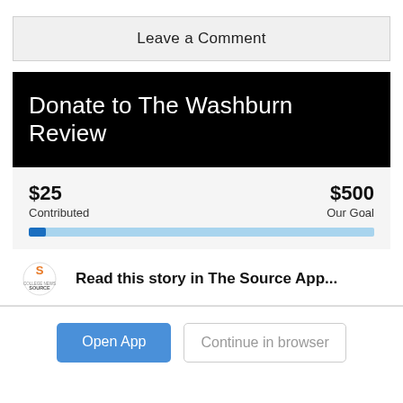Leave a Comment
Donate to The Washburn Review
$25 Contributed   $500 Our Goal
[Figure (other): Progress bar showing $25 contributed out of $500 goal, approximately 5% filled in dark blue with light blue background]
Read this story in The Source App...
Open App   Continue in browser